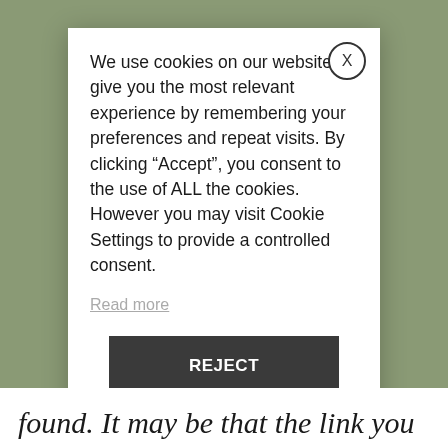[Figure (screenshot): Cookie consent modal dialog overlaying a blurred olive/green background. Modal contains cookie consent text, a Read more link, a REJECT button, and a Settings button. An X close button appears at the top right of the modal.]
We use cookies on our website to give you the most relevant experience by remembering your preferences and repeat visits. By clicking “Accept”, you consent to the use of ALL the cookies. However you may visit Cookie Settings to provide a controlled consent.
Read more
REJECT
Settings
found. It may be that the link you